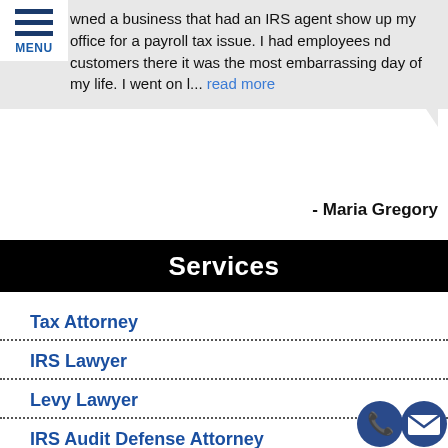MENU
wned a business that had an IRS agent show up my office for a payroll tax issue. I had employees nd customers there it was the most embarrassing day of my life. I went on l... read more
- Maria Gregory
Services
Tax Attorney
IRS Lawyer
Levy Lawyer
IRS Audit Defense Attorney
Tax Debt Attorney